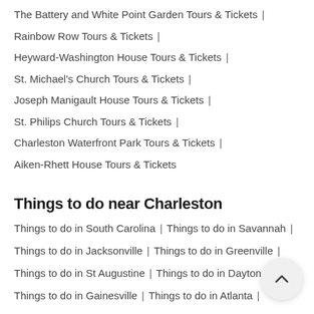The Battery and White Point Garden Tours & Tickets |
Rainbow Row Tours & Tickets |
Heyward-Washington House Tours & Tickets |
St. Michael's Church Tours & Tickets |
Joseph Manigault House Tours & Tickets |
St. Philips Church Tours & Tickets |
Charleston Waterfront Park Tours & Tickets |
Aiken-Rhett House Tours & Tickets
Things to do near Charleston
Things to do in South Carolina | Things to do in Savannah |
Things to do in Jacksonville | Things to do in Greenville |
Things to do in St Augustine | Things to do in Daytona Beach
Things to do in Gainesville | Things to do in Atlanta |
Things to do in Orlando | Things to do in Cape Canaveral |